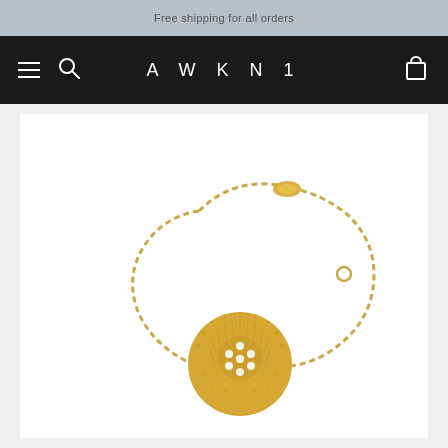Free shipping for all orders
AWKN1
[Figure (photo): Gold bracelet with a circular sunburst medallion pendant featuring diamond accent stones arranged in a floral cluster pattern, displayed on a white background. The bracelet has a delicate chain with a lobster clasp closure.]